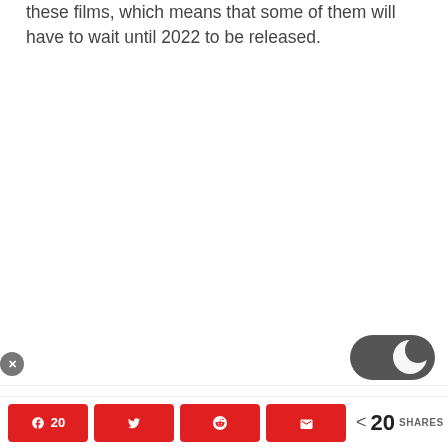these films, which means that some of them will have to wait until 2022 to be released.
[Figure (other): Dark mode toggle switch icon (dark grey toggle pill with a crescent moon symbol)]
[Figure (other): Small close button (X) circle in grey, and a small colored ad icon on the left edge]
AI Advertising
20  SHARES (share buttons: Facebook 20, Twitter, Reddit, Email, and share count < 20 SHARES)